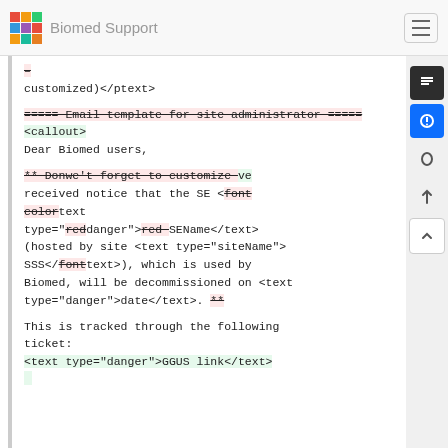Biomed Support
–
customized)</ptext>

===== Email template for site administrator =====<callout>
Dear Biomed users,

** Donwe't forget to customize ve received notice that the SE <font colortext type="reddanger">red SEName</text>
(hosted by site <text type="siteName">SSS</fonttext>), which is used by Biomed, will be decommissioned on <text type="danger">date</text>. **

This is tracked through the following ticket:
<text type="danger">GGUS link</text>